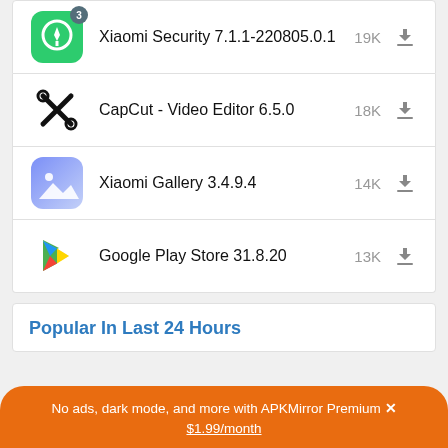Xiaomi Security 7.1.1-220805.0.1  19K
CapCut - Video Editor 6.5.0  18K
Xiaomi Gallery 3.4.9.4  14K
Google Play Store 31.8.20  13K
Popular In Last 24 Hours
No ads, dark mode, and more with APKMirror Premium ✕
$1.99/month